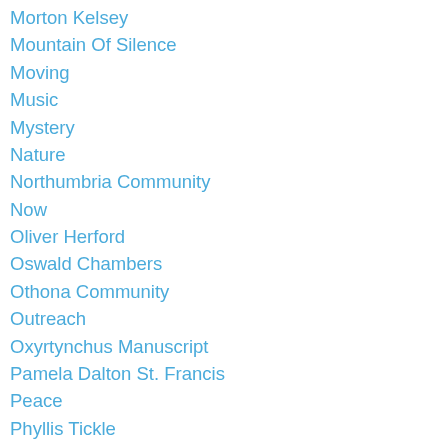Morton Kelsey
Mountain Of Silence
Moving
Music
Mystery
Nature
Northumbria Community
Now
Oliver Herford
Oswald Chambers
Othona Community
Outreach
Oxyrtynchus Manuscript
Pamela Dalton St. Francis
Peace
Phyllis Tickle
Pilgrimage
Pope Francis
Praise
Prayer
Prayer List